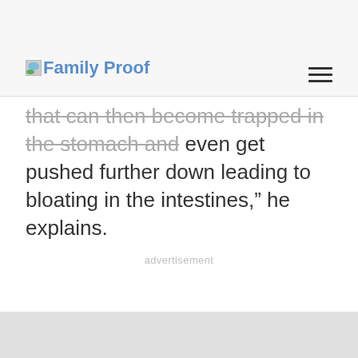Family Proof
that can then become trapped in the stomach and even get pushed further down leading to bloating in the intestines,” he explains.
advertisement